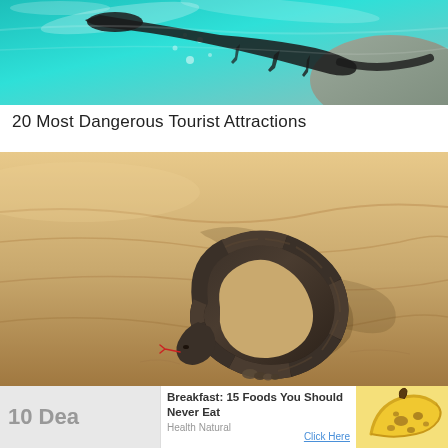[Figure (photo): Underwater photo of a reptile (crocodile or similar) swimming in clear turquoise water with bubbles and rocks visible]
20 Most Dangerous Tourist Attractions
[Figure (photo): Close-up photo of a dark coiled snake resting on sandy ground with shadows cast around it]
10 Dea
Breakfast: 15 Foods You Should Never Eat
Health Natural
Click Here
[Figure (photo): Photo of a brown spotted banana]